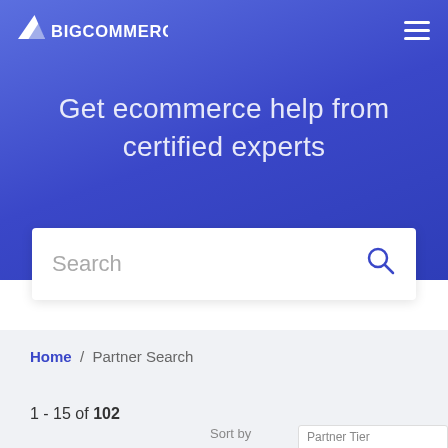[Figure (logo): BigCommerce logo: white triangle/arrow icon followed by bold white text 'BIGCOMMERCE']
Get ecommerce help from certified experts
Search
Home / Partner Search
1 - 15 of 102
Sort by     Partner Tier